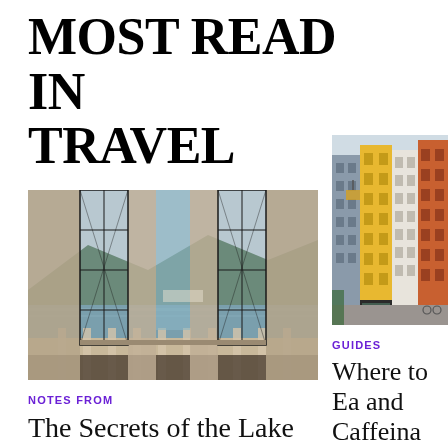MOST READ IN TRAVEL
[Figure (photo): Interior view through ornate iron and glass doors looking out over a lake with mountains in the background, warm stone columns, white balustrade]
NOTES FROM
The Secrets of the Lake
[Figure (photo): Colorful Scandinavian building facades in a cobblestone street in Copenhagen, with blue, yellow, grey and orange buildings]
GUIDES
Where to Eat and Caffeinate Copenhagen
A few favorite spots